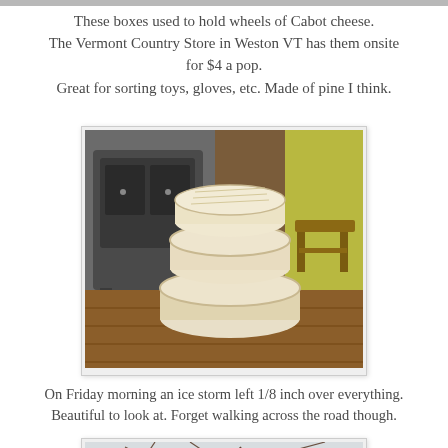These boxes used to hold wheels of Cabot cheese. The Vermont Country Store in Weston VT has them onsite for $4 a pop. Great for sorting toys, gloves, etc. Made of pine I think.
[Figure (photo): Stacked round wooden cheese boxes (formerly holding Cabot cheese wheels) sitting on a hardwood floor in front of a cast iron wood stove, with a decorative rug visible.]
On Friday morning an ice storm left 1/8 inch over everything. Beautiful to look at. Forget walking across the road though.
[Figure (photo): Branches of a tree coated in ice from an ice storm, photographed looking upward against a pale sky.]